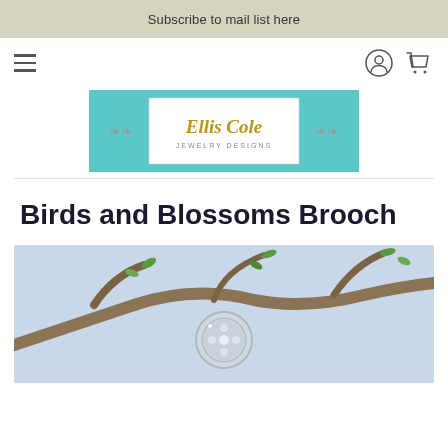Subscribe to mail list here
[Figure (logo): Ellis Cole Jewelry Designs logo — teal horizontal bar with white center rectangle containing 'Ellis Cole' in gold serif and 'JEWELRY DESIGNS' below in smaller gray text, flanked by decorative scroll ornaments]
Birds and Blossoms Brooch
[Figure (photo): Close-up photo of a silver brooch resting on tree branches with green leaves and blossoms, against a light blue background]